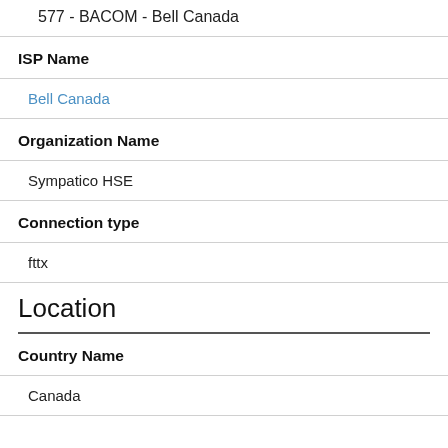577 - BACOM - Bell Canada
ISP Name
Bell Canada
Organization Name
Sympatico HSE
Connection type
fttx
Location
Country Name
Canada